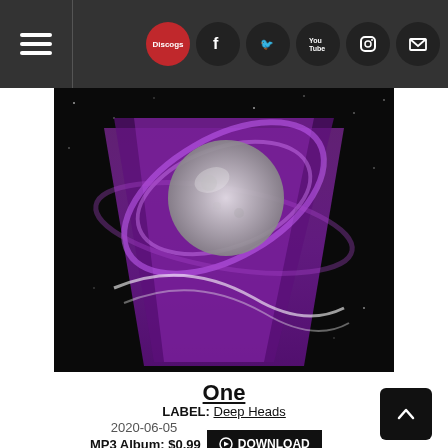Discogs navigation header with hamburger menu and social icons (Discogs, Facebook, Twitter, YouTube, Instagram, Email)
[Figure (photo): Album artwork for 'One' by Deep Heads. A dark space background with a large purple inverted triangle/prism shape and a glowing moon/sphere in the center surrounded by swirling purple light trails.]
One
LABEL: Deep Heads
2020-06-05
MP3 Album: $0.99  DOWNLOAD